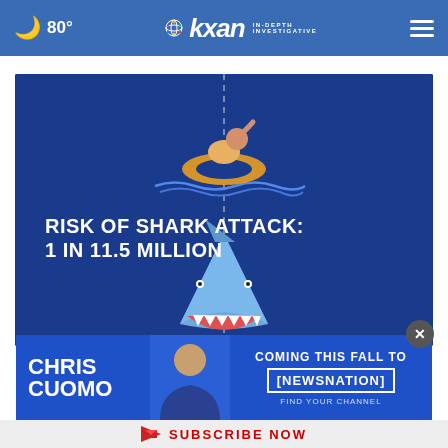🌙 80° | KXAN IN-DEPTH INVESTIGATIVE
[Figure (infographic): Infographic showing a person floating on an inflatable ring above water with a dashed line going down to a shark below, with text: RISK OF SHARK ATTACK: 1 IN 11.5 MILLION]
[Figure (infographic): Advertisement banner: CHRIS CUOMO - COMING THIS FALL TO [NEWSNATION] FIND YOUR CHANNEL, with photo of Chris Cuomo]
SUBSCRIBE NOW